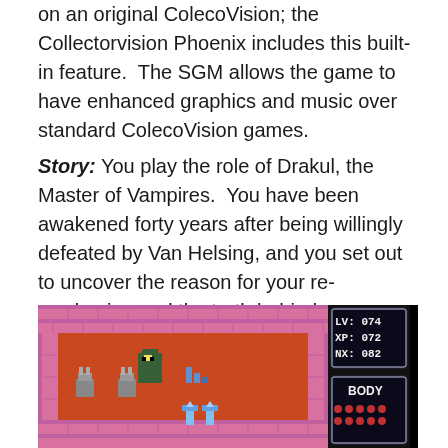on an original ColecoVision; the Collectorvision Phoenix includes this built-in feature.  The SGM allows the game to have enhanced graphics and music over standard ColecoVision games.
Story: You play the role of Drakul, the Master of Vampires.  You have been awakened forty years after being willingly defeated by Van Helsing, and you set out to uncover the reason for your re-awakening and the truth behind a new dark power that is arising.  You'll soon discover that you must collect 6 Relics to beat the 'god' who is coming to cover the world in darkness.
[Figure (screenshot): A game screenshot showing a retro-style platformer/RPG game on ColecoVision. The scene shows a pixelated dungeon/castle environment with pink/purple brick walls, a character sprite in the middle, various icons, and a HUD on the right showing LV: 074, XP: 072, NX: 082, and BODY with heart icons. The background is orange-red with pixel art decorations.]